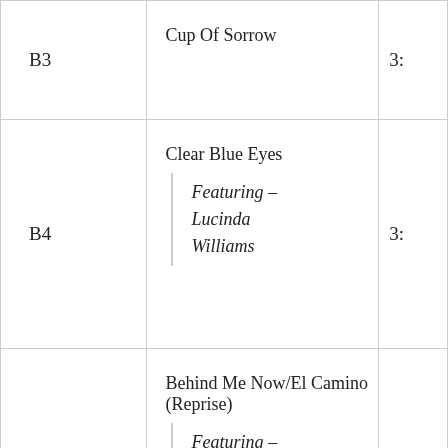| Track | Title | Duration |
| --- | --- | --- |
| B3 | Cup Of Sorrow | 3: |
| B4 | Clear Blue Eyes
Featuring – Lucinda Williams | 3: |
| B5 | Behind Me Now/El Camino (Reprise)
Featuring – Willie Nelson | 9: |